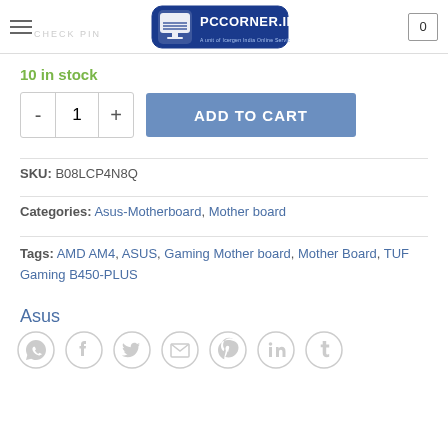PCCORNER.IN — A unit of Icergen India Online Services
CHECK PIN
10 in stock
ADD TO CART (quantity: 1)
SKU: B08LCP4N8Q
Categories: Asus-Motherboard, Mother board
Tags: AMD AM4, ASUS, Gaming Mother board, Mother Board, TUF Gaming B450-PLUS
Asus
[Figure (infographic): Social sharing icons row: WhatsApp, Facebook, Twitter, Email, Pinterest, LinkedIn, Tumblr — grey circular outline icons]